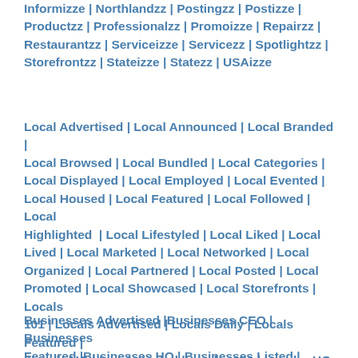Informizze | Northlandzz | Postingzz | Postizze | Productzz | Professionalzz | Promoizze | Repairzz | Restaurantzz | Serviceizze | Servicezz | Spotlightzz | Storefrontzz | Stateizze | Statezz | USAizze
Local Advertised | Local Announced | Local Branded | Local Browsed | Local Bundled | Local Categories | Local Displayed | Local Employed | Local Evented | Local Housed | Local Featured | Local Followed | Local Highlighted | Local Lifestyled | Local Liked | Local Lived | Local Marketed | Local Networked | Local Organized | Local Partnered | Local Posted | Local Promoted | Local Showcased | Local Storefronts | Locals 101 | Locals Advertised | Locals Daily | Locals Featured | Locals HQ | Locals Listed |Localzz 101 | Localzz HQ | Localzz 360
Businesses Advertised |Businesses CEO | Businesses Featured |Businesses HQ | Businesses Listed |